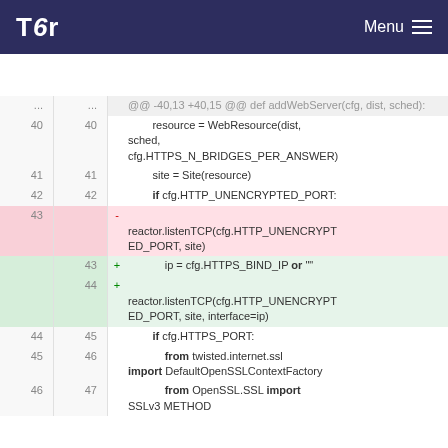Tor — Menu
lib/bridgedb/server.py
[Figure (screenshot): Git diff view showing changes to lib/bridgedb/server.py, lines 40-47. A deleted line (43) removes reactor.listenTCP(cfg.HTTP_UNENCRYPTED_PORT, site) and two new lines (43,44) add ip = cfg.HTTPS_BIND_IP or '' and reactor.listenTCP(cfg.HTTP_UNENCRYPTED_PORT, site, interface=ip).]